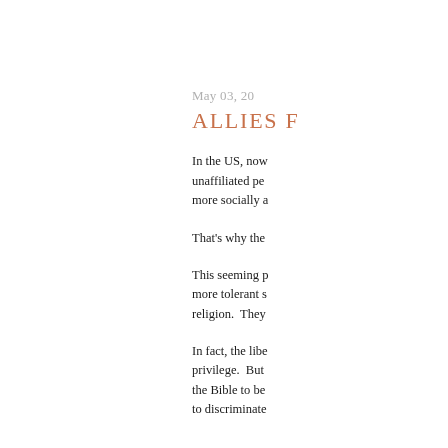May 03, 20
ALLIES F
In the US, now unaffiliated pe more socially a
That's why the
This seeming p more tolerant s religion.  They
In fact, the libe privilege.  But the Bible to be to discriminate